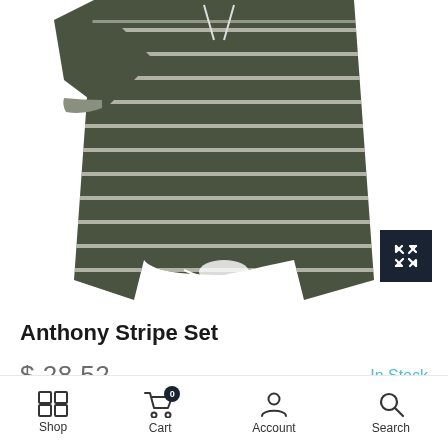[Figure (photo): Partial view of Anthony Stripe Set clothing item — a dark olive/charcoal striped romper/set with white horizontal stripes and white drawstrings, shown cropped from mid-section upward]
Anthony Stripe Set
$28.52
In Stock
Shipping calculated at checkout
Shop  Cart  Account  Search